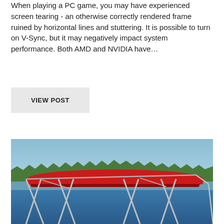When playing a PC game, you may have experienced screen tearing - an otherwise correctly rendered frame ruined by horizontal lines and stuttering. It is possible to turn on V-Sync, but it may negatively impact system performance. Both AMD and NVIDIA have...
VIEW POST
[Figure (photo): Photo of a red bimini top (boat canopy) with metallic frame poles, on a boat on blue water, with green trees and blue sky in the background.]